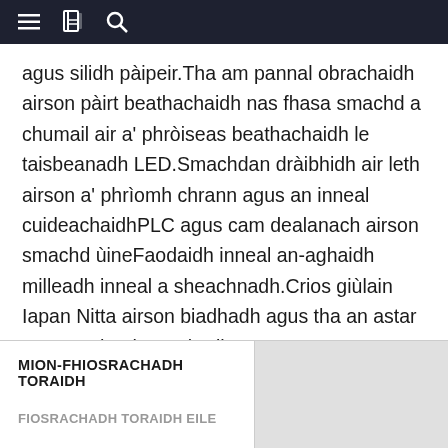Navigation bar with menu, book, and search icons
agus silidh pàipeir.Tha am pannal obrachaidh airson pàirt beathachaidh nas fhasa smachd a chumail air a' phròiseas beathachaidh le taisbeanadh LED.Smachdan dràibhidh air leth airson a' phrìomh chrann agus an inneal cuideachaidhPLC agus cam dealanach airson smachd ùineFaodaidh inneal an-aghaidh milleadh inneal a sheachnadh.Crios giùlain Iapan Nitta airson biadhadh agus tha an astar comasach atharrachadh
CUIR POST-D THUGAINN
MION-FHIOSRACHADH TORAIDH
FIOSRACHADH TORAIDH EILE